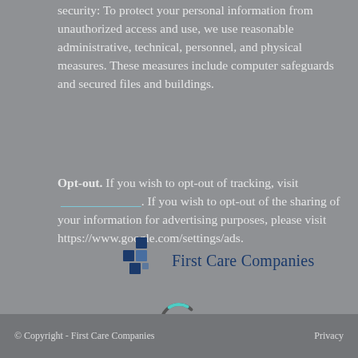security: To protect your personal information from unauthorized access and use, we use reasonable administrative, technical, personnel, and physical measures. These measures include computer safeguards and secured files and buildings.
Opt-out. If you wish to opt-out of tracking, visit [link]. If you wish to opt-out of the sharing of your information for advertising purposes, please visit https://www.google.com/settings/ads.
[Figure (logo): First Care Companies logo with blue geometric cube icon and company name text]
[Figure (other): Loading spinner ring graphic]
Questions Regarding this Privacy Policy. If you have questions regarding this Privacy Policy, please contact us at [email link].
© Copyright - First Care Companies    Privacy